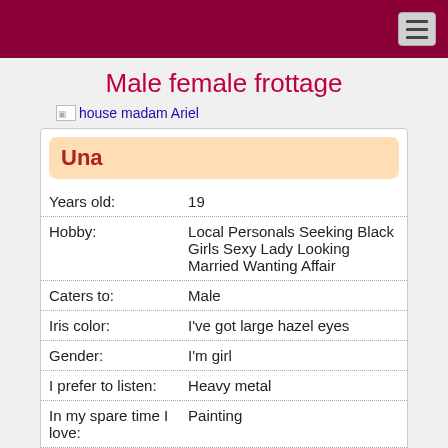Male female frottage
[Figure (other): Broken image icon followed by link text 'house madam Ariel']
| Years old: | 19 |
| Hobby: | Local Personals Seeking Black Girls Sexy Lady Looking Married Wanting Affair |
| Caters to: | Male |
| Iris color: | I've got large hazel eyes |
| Gender: | I'm girl |
| I prefer to listen: | Heavy metal |
| In my spare time I love: | Painting |
Dry humping. Dry sex. Pants burning. Then there are the endless options for getting your frott on, which can include delightful moves like:.